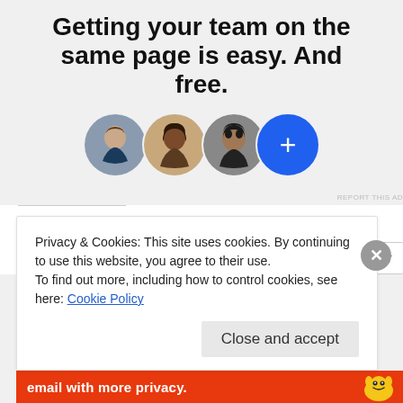Getting your team on the same page is easy. And free.
[Figure (illustration): Three circular avatar photos of people and one blue circle with a plus sign, arranged in a row with slight overlap.]
REPORT THIS AD
Share this:
Facebook  Twitter  Email  Tumblr
Privacy & Cookies: This site uses cookies. By continuing to use this website, you agree to their use.
To find out more, including how to control cookies, see here: Cookie Policy
Close and accept
email with more privacy.